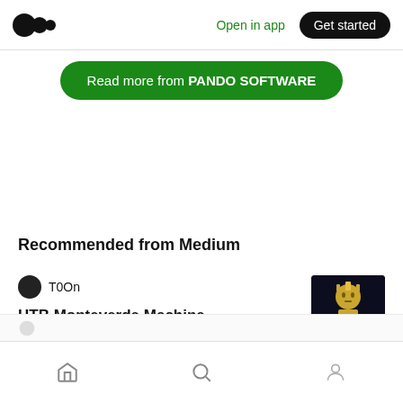Open in app  Get started
Read more from PANDO SOFTWARE
Recommended from Medium
T0On
HTB Monteverde Machine Walkthrough.
[Figure (illustration): Thumbnail image for HTB Monteverde Machine Walkthrough article — dark background with a stylized golden figure and the word Monteverde]
Home  Search  Profile